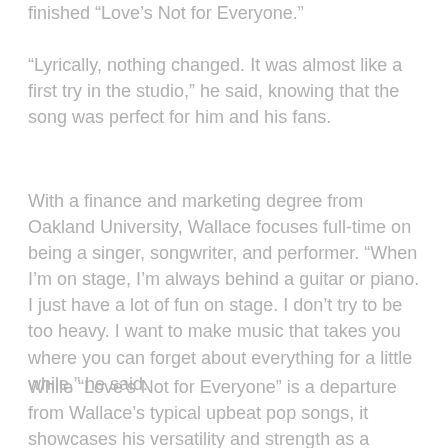finished “Love’s Not for Everyone.”
“Lyrically, nothing changed. It was almost like a first try in the studio,” he said, knowing that the song was perfect for him and his fans.
With a finance and marketing degree from Oakland University, Wallace focuses full-time on being a singer, songwriter, and performer. “When I’m on stage, I’m always behind a guitar or piano. I just have a lot of fun on stage. I don’t try to be too heavy. I want to make music that takes you where you can forget about everything for a little while,” he said.
While “Love’s Not for Everyone” is a departure from Wallace’s typical upbeat pop songs, it showcases his versatility and strength as a singer and songwriter. Taking a few cues from the legendary Stevie Wonder